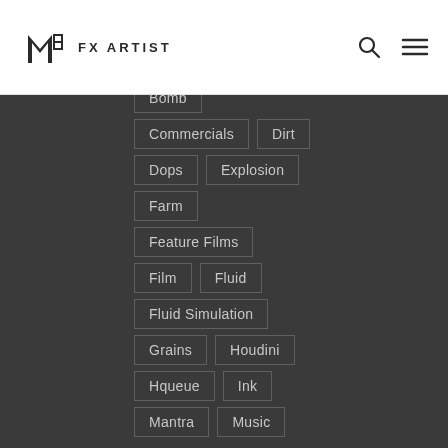PM FX ARTIST
Music
Naiad
Reel
Simulation
TAGS
Bomb, Commercials, Dirt, Dops, Explosion, Farm, Feature Films, Film, Fluid, Fluid Simulation, Grains, Houdini, Hqueue, Ink, Mantra, Music